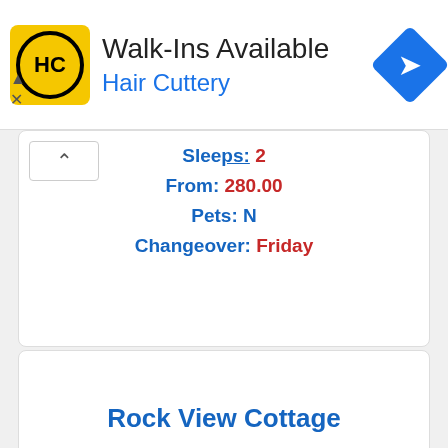[Figure (illustration): Hair Cuttery advertisement banner with yellow HC logo, text 'Walk-Ins Available' and 'Hair Cuttery', and a blue navigation diamond icon]
Sleeps: 2
From: 280.00
Pets: N
Changeover: Friday
Rock View Cottage
Spofforth - 6.6 miles from Kirk Hammerton, St John the Baptist Church
Sleeps: 2
From: 280.00
Pets: N
Changeover: Friday